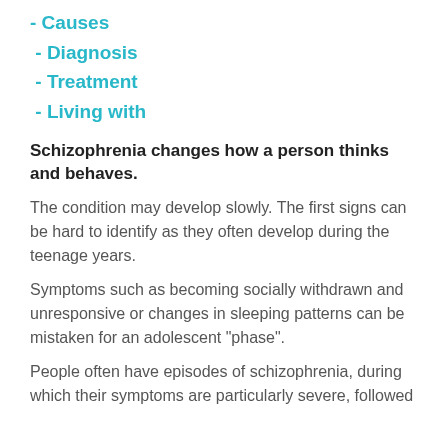- Causes
- Diagnosis
- Treatment
- Living with
Schizophrenia changes how a person thinks and behaves.
The condition may develop slowly. The first signs can be hard to identify as they often develop during the teenage years.
Symptoms such as becoming socially withdrawn and unresponsive or changes in sleeping patterns can be mistaken for an adolescent "phase".
People often have episodes of schizophrenia, during which their symptoms are particularly severe, followed